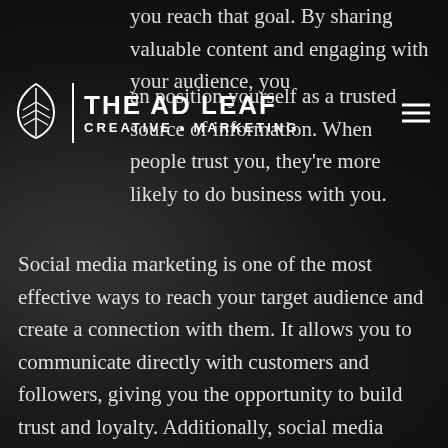THE AD LEAF
CREATIVE • MARKETING
you reach that goal. By sharing valuable content and engaging with your audience, you can position yourself as a trusted source of information. When people trust you, they're more likely to do business with you.
Social media marketing is one of the most effective ways to reach your target audience and create a connection with them. It allows you to communicate directly with customers and followers, giving you the opportunity to build trust and loyalty. Additionally, social media platforms are an important way to share your content and help it reach a larger audience. At The AD Leaf, we know how to create social media campaigns that deliver